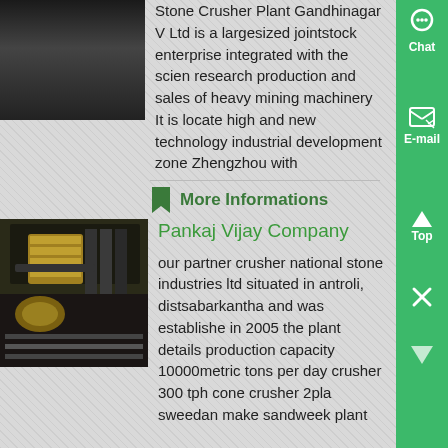[Figure (photo): Dark image of stone crusher plant machinery at top left]
Stone Crusher Plant Gandhinagar V Ltd is a largesized jointstock enterprise integrated with the scien research production and sales of heavy mining machinery It is locate high and new technology industrial development zone Zhengzhou with
More Informations
[Figure (photo): Industrial stone crusher machinery photo, dark tones with yellow/gold gear components]
Pankaj Vijay Company
our partner crusher national stone industries ltd situated in antroli, distsabarkantha and was established in 2005 the plant details production capacity 10000metric tons per day crusher 300 tph cone crusher 2pla sweedan make sandweek plant